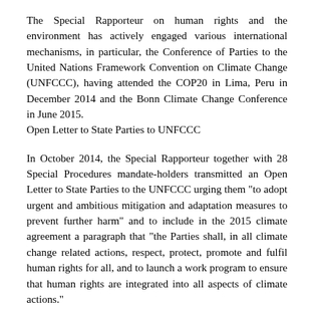The Special Rapporteur on human rights and the environment has actively engaged various international mechanisms, in particular, the Conference of Parties to the United Nations Framework Convention on Climate Change (UNFCCC), having attended the COP20 in Lima, Peru in December 2014 and the Bonn Climate Change Conference in June 2015.
Open Letter to State Parties to UNFCCC
In October 2014, the Special Rapporteur together with 28 Special Procedures mandate-holders transmitted an Open Letter to State Parties to the UNFCCC urging them "to adopt urgent and ambitious mitigation and adaptation measures to prevent further harm" and to include in the 2015 climate agreement a paragraph that "the Parties shall, in all climate change related actions, respect, protect, promote and fulfil human rights for all, and to launch a work program to ensure that human rights are integrated into all aspects of climate actions."